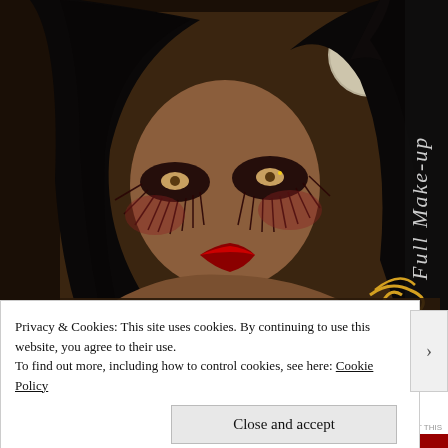[Figure (illustration): Digital 3D render of a female avatar with long black hair, dramatic gothic Halloween makeup with dark red eye shadow and spider-lash detail, bright red lips, against a dark brown background with a full moon. A vertical text label 'Full Make-up' is visible on the right side. A decorative golden swirl element appears at the bottom right.]
Privacy & Cookies: This site uses cookies. By continuing to use this website, you agree to their use.
To find out more, including how to control cookies, see here: Cookie Policy
Close and accept